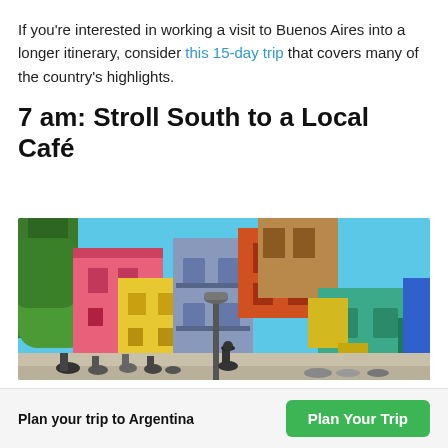If you're interested in working a visit to Buenos Aires into a longer itinerary, consider this 15-day trip that covers many of the country's highlights.
7 am: Stroll South to a Local Café
[Figure (photo): Street scene of colorful buildings in La Boca neighborhood of Buenos Aires — pink, yellow, blue, teal, orange, and red corrugated metal facades under a bright blue sky, with tourists walking along the pedestrian street and a decorative lamp post in the center.]
Plan your trip to Argentina